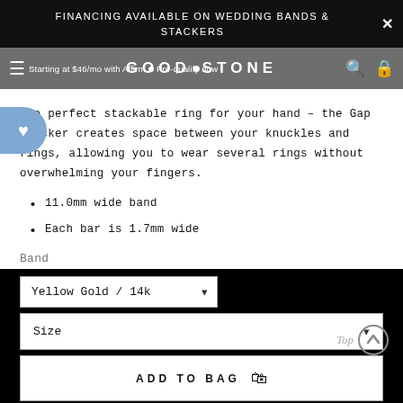FINANCING AVAILABLE ON WEDDING BANDS & STACKERS
GOOD STONE — Starting at $46/mo with Affirm • Pre-qualify now
The perfect stackable ring for your hand – the Gap stacker creates space between your knuckles and rings, allowing you to wear several rings without overwhelming your fingers.
11.0mm wide band
Each bar is 1.7mm wide
Band
Yellow Gold / 14k
Size
ADD TO BAG